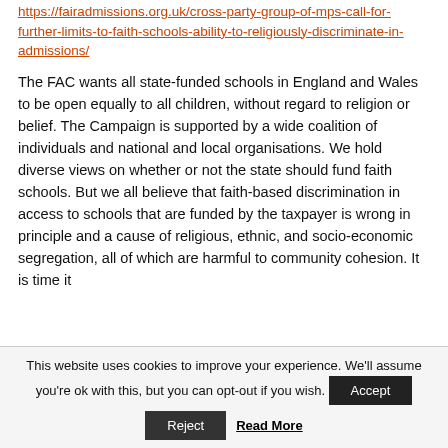https://fairadmissions.org.uk/cross-party-group-of-mps-call-for-further-limits-to-faith-schools-ability-to-religiously-discriminate-in-admissions/
The FAC wants all state-funded schools in England and Wales to be open equally to all children, without regard to religion or belief. The Campaign is supported by a wide coalition of individuals and national and local organisations. We hold diverse views on whether or not the state should fund faith schools. But we all believe that faith-based discrimination in access to schools that are funded by the taxpayer is wrong in principle and a cause of religious, ethnic, and socio-economic segregation, all of which are harmful to community cohesion. It is time it
This website uses cookies to improve your experience. We'll assume you're ok with this, but you can opt-out if you wish.